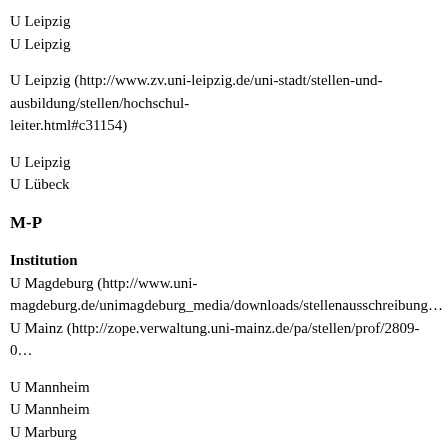U Leipzig
U Leipzig
U Leipzig (http://www.zv.uni-leipzig.de/uni-stadt/stellen-und-ausbildung/stellen/hochschul-leiter.html#c31154)
U Leipzig
U Lübeck
M-P
Institution
U Magdeburg (http://www.uni-magdeburg.de/unimagdeburg_media/downloads/stellenausschreibung…
U Mainz (http://zope.verwaltung.uni-mainz.de/pa/stellen/prof/2809-0…
U Mannheim
U Mannheim
U Marburg